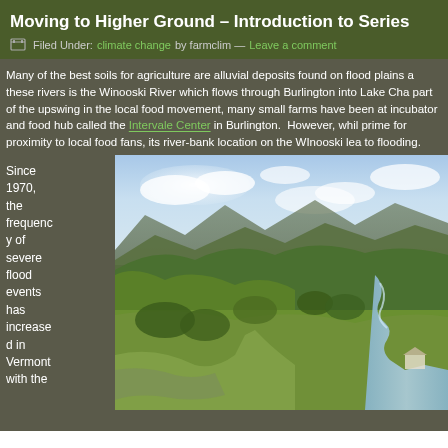Moving to Higher Ground – Introduction to Series
Filed Under: climate change by farmclim — Leave a comment
Many of the best soils for agriculture are alluvial deposits found on flood plains a these rivers is the Winooski River which flows through Burlington into Lake Cha part of the upswing in the local food movement, many small farms have been at incubator and food hub called the Intervale Center in Burlington.  However, whil prime for proximity to local food fans, its river-bank location on the WInooski lea to flooding.
Since 1970, the frequency of severe flood events has increased in Vermont with the
[Figure (photo): Aerial landscape photograph showing green rolling hills, farmland, a winding river, and mountains in the background under a partly cloudy sky — the Winooski River valley in Vermont.]